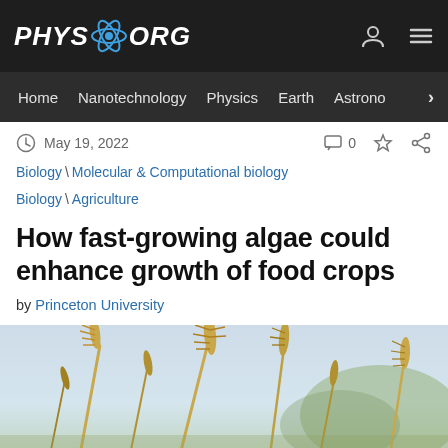PHYS.ORG
Home | Nanotechnology | Physics | Earth | Astronomy
May 19, 2022
Biology \ Molecular & Computational biology
Biology \ Agriculture
How fast-growing algae could enhance growth of food crops
by Princeton University
[Figure (photo): Wheat stalks photographed close-up against a light sky background]